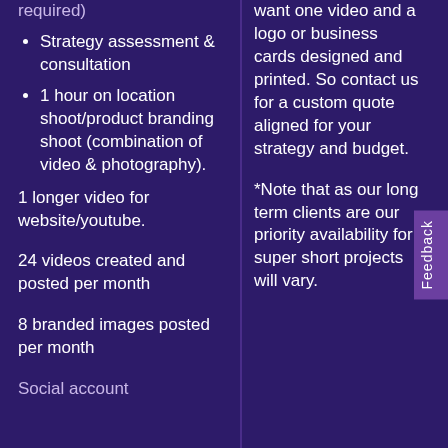Strategy assessment & consultation
1 hour on location shoot/product branding shoot (combination of video & photography).
1 longer video for website/youtube.
24 videos created and posted per month
8 branded images posted per month
Social account
want one video and a logo or business cards designed and printed. So contact us for a custom quote aligned for your strategy and budget.
*Note that as our long term clients are our priority availability for super short projects will vary.